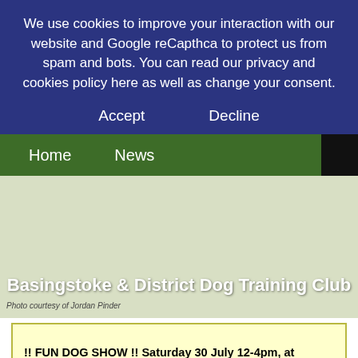We use cookies to improve your interaction with our website and Google reCapthca to protect us from spam and bots. You can read our privacy and cookies policy here as well as change your consent.
Accept    Decline
Home    News
[Figure (photo): Hero image background with text overlay reading 'Basingstoke & District Dog Training Club']
Photo courtesy of Jordan Pinder
!! FUN DOG SHOW !! Saturday 30 July 12-4pm, at Basingstoke Rugby Club The club is pleased to be